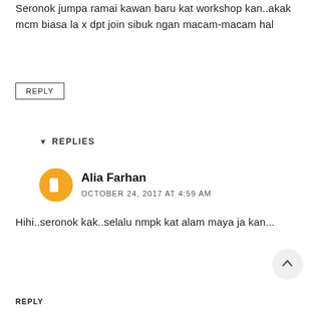Seronok jumpa ramai kawan baru kat workshop kan..akak mcm biasa la x dpt join sibuk ngan macam-macam hal
REPLY
▼ REPLIES
Alia Farhan
OCTOBER 24, 2017 AT 4:59 AM
Hihi..seronok kak..selalu nmpk kat alam maya ja kan...
REPLY